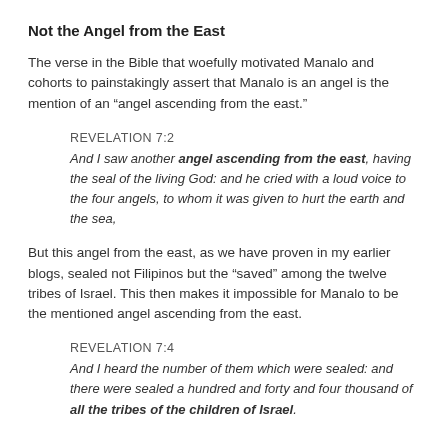Not the Angel from the East
The verse in the Bible that woefully motivated Manalo and cohorts to painstakingly assert that Manalo is an angel is the mention of an “angel ascending from the east.”
REVELATION 7:2
And I saw another angel ascending from the east, having the seal of the living God: and he cried with a loud voice to the four angels, to whom it was given to hurt the earth and the sea,
But this angel from the east, as we have proven in my earlier blogs, sealed not Filipinos but the "saved" among the twelve tribes of Israel. This then makes it impossible for Manalo to be the mentioned angel ascending from the east.
REVELATION 7:4
And I heard the number of them which were sealed: and there were sealed a hundred and forty and four thousand of all the tribes of the children of Israel.